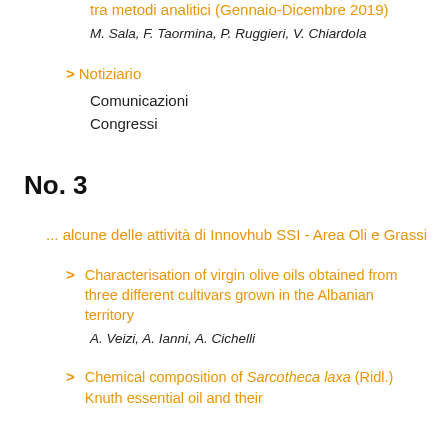tra metodi analitici (Gennaio-Dicembre 2019)
M. Sala, F. Taormina, P. Ruggieri, V. Chiardola
> Notiziario
Comunicazioni
Congressi
No. 3
... alcune delle attività di Innovhub SSI - Area Oli e Grassi
> Characterisation of virgin olive oils obtained from three different cultivars grown in the Albanian territory
A. Veizi, A. Ianni, A. Cichelli
> Chemical composition of Sarcotheca laxa (Ridl.) Knuth essential oil and their